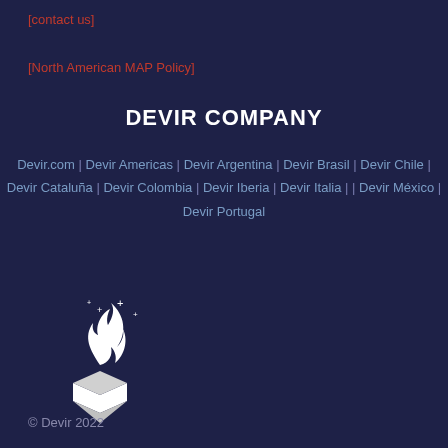[contact us]
[North American MAP Policy]
DEVIR COMPANY
Devir.com | Devir Americas | Devir Argentina | Devir Brasil | Devir Chile | Devir Cataluña | Devir Colombia | Devir Iberia | Devir Italia | | Devir México | Devir Portugal
[Figure (logo): Devir company logo: white flame with sparkles above a stylized box/gem shape]
© Devir 2022